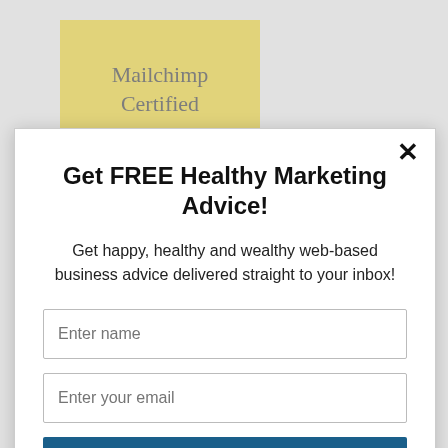[Figure (logo): Mailchimp Certified badge — yellow rectangle with 'Mailchimp Certified' text and monkey icon partially visible]
Get FREE Healthy Marketing Advice!
Get happy, healthy and wealthy web-based business advice delivered straight to your inbox!
Enter name
Enter your email
Subscribe